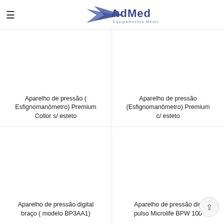AndMed Equipamentos Médicos
Aparelho de pressão ( Esfignomanômetro) Premium Collor s/ esteto
Aparelho de pressão (Esfignomanômetro) Premium c/ esteto
Aparelho de pressão digital braço ( modelo BP3AA1)
Aparelho de pressão dig pulso Microlife BPW 100